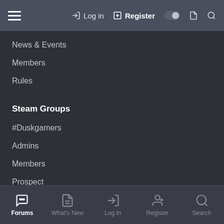Log in  Register
News & Events
Members
Rules
Steam Groups
#Duskgamers
Admins
Members
Prospect
Other
Forums  What's New  Log In  Register  Search